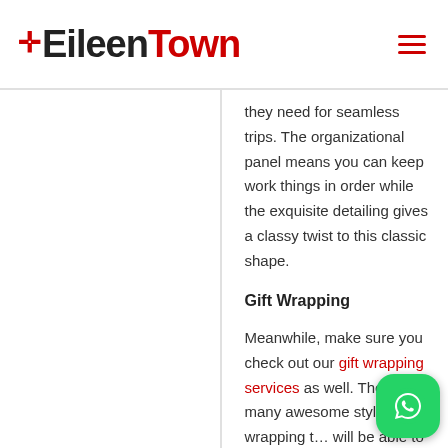EileenTown
they need for seamless trips. The organizational panel means you can keep work things in order while the exquisite detailing gives a classy twist to this classic shape.
Gift Wrapping
Meanwhile, make sure you check out our gift wrapping services as well. There are many awesome styles of gift wrapping t… will be able to suit your